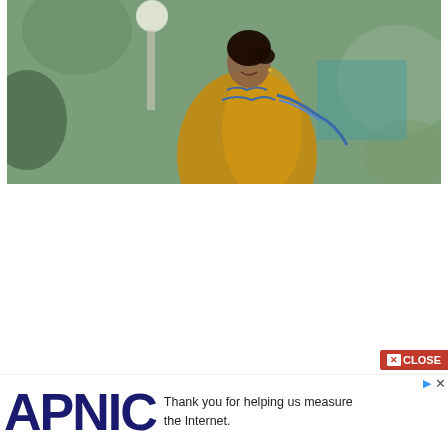[Figure (photo): A woman in an orange/yellow saree with blue embroidery detail, smiling, photographed outdoors with blurred green background and a light fixture visible]
Table of Contents
1. Jalebi Bai Web Series Wiki
2. Jalebi Bai Ullu Web Series Cast
3. Jalebi Bai Web Series Story
4. Jalebi Bai Web Series Release Date
[Figure (logo): APNIC logo in dark navy blue large bold text]
Thank you for helping us measure the Internet.